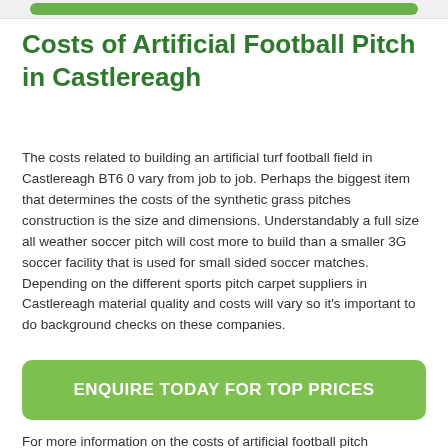Costs of Artificial Football Pitch in Castlereagh
The costs related to building an artificial turf football field in Castlereagh BT6 0 vary from job to job. Perhaps the biggest item that determines the costs of the synthetic grass pitches construction is the size and dimensions. Understandably a full size all weather soccer pitch will cost more to build than a smaller 3G soccer facility that is used for small sided soccer matches. Depending on the different sports pitch carpet suppliers in Castlereagh material quality and costs will vary so it's important to do background checks on these companies.
ENQUIRE TODAY FOR TOP PRICES
For more information on the costs of artificial football pitch installation closest to you, please fill out our contact box provided on this page. One of our experienced professionals will get back to